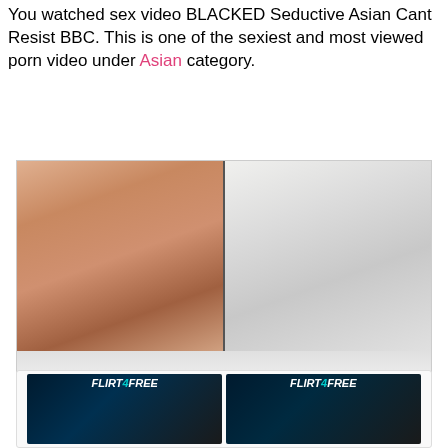You watched sex video BLACKED Seductive Asian Cant Resist BBC. This is one of the sexiest and most viewed porn video under Asian category.
[Figure (screenshot): Video thumbnail showing adult content with CINEMATIC HD EXPERIENCE branding and passion-hd.com SEE MORE button]
[Figure (screenshot): Advertisement card showing two Flirt4Free thumbnails side by side]